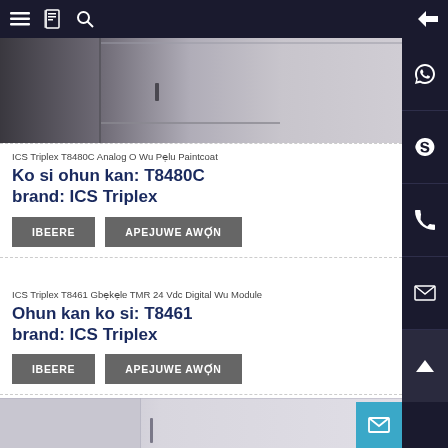[Figure (photo): Top portion of an ICS Triplex T8480C analog module, showing the gray metal casing from the side, partially cropped.]
ICS Triplex T8480C Analog O Wu Pẹlu Paintcoat
Ko si ohun kan: T8480C
brand: ICS Triplex
IBEERE
APEJUWE AWỌ́N
ICS Triplex T8461 Gbẹkẹle TMR 24 Vdc Digital Wu Module
Ohun kan ko si: T8461
brand: ICS Triplex
IBEERE
APEJUWE AWỌ́N
[Figure (photo): Bottom portion of an ICS Triplex T8461 digital module, showing white/gray metal casing and front panel detail.]